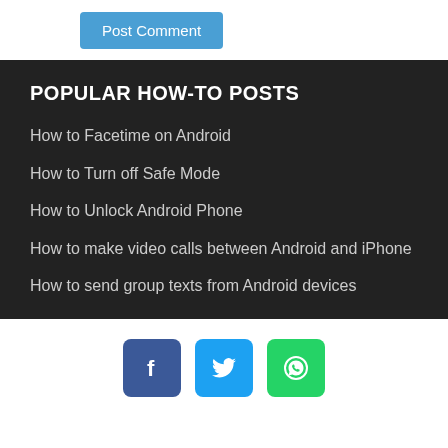[Figure (other): Post Comment button - blue rounded rectangle button with white text]
POPULAR HOW-TO POSTS
How to Facetime on Android
How to Turn off Safe Mode
How to Unlock Android Phone
How to make video calls between Android and iPhone
How to send group texts from Android devices
[Figure (other): Social media icons: Facebook (blue), Twitter (light blue), WhatsApp (green)]